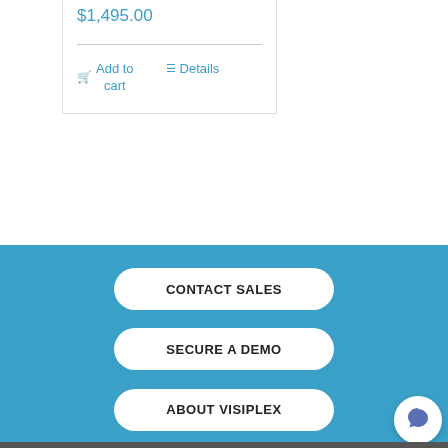$1,495.00
Add to cart
Details
CONTACT SALES
SECURE A DEMO
ABOUT VISIPLEX